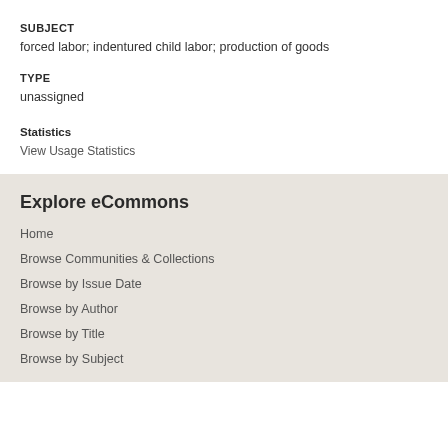SUBJECT
forced labor; indentured child labor; production of goods
TYPE
unassigned
Statistics
View Usage Statistics
Explore eCommons
Home
Browse Communities & Collections
Browse by Issue Date
Browse by Author
Browse by Title
Browse by Subject